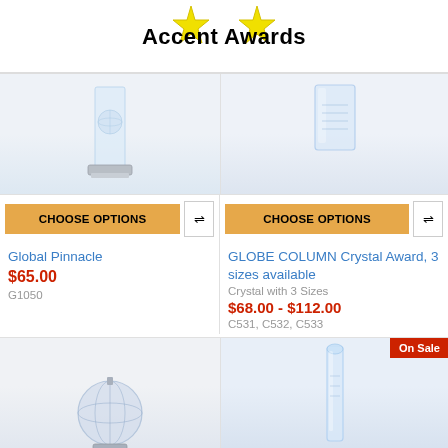Accent Awards
[Figure (photo): Crystal award trophy - Global Pinnacle, tall glass column with metallic base]
[Figure (photo): Crystal award trophy - Globe Column Crystal Award, rectangular crystal block]
CHOOSE OPTIONS
CHOOSE OPTIONS
Global Pinnacle
$65.00
G1050
GLOBE COLUMN Crystal Award, 3 sizes available
Crystal with 3 Sizes
$68.00 - $112.00
C531, C532, C533
[Figure (photo): Globe-shaped crystal award on metallic stand]
[Figure (photo): Tall crystal column award - On Sale]